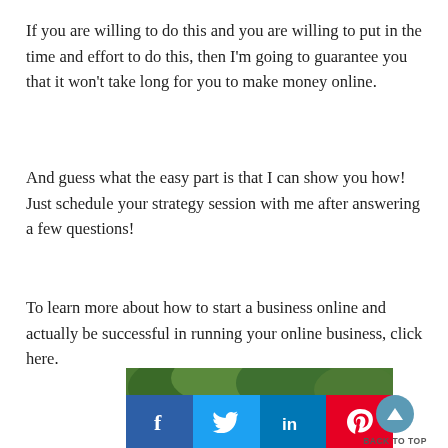If you are willing to do this and you are willing to put in the time and effort to do this, then I’m going to guarantee you that it won’t take long for you to make money online.
And guess what the easy part is that I can show you how! Just schedule your strategy session with me after answering a few questions!
To learn more about how to start a business online and actually be successful in running your online business, click here.
[Figure (photo): Photo of a person outdoors with green foliage background, partially visible, with social media sharing buttons (Facebook, Twitter, LinkedIn, Pinterest) overlaid at the bottom of the image, and a Back to Top button to the right.]